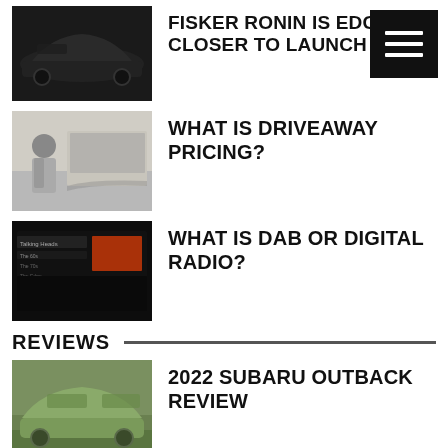[Figure (photo): Dark car thumbnail for Fisker Ronin article]
FISKER RONIN IS EDGING CLOSER TO LAUNCH
[Figure (other): Hamburger menu button icon]
[Figure (photo): Person next to car thumbnail for Driveaway Pricing article]
WHAT IS DRIVEAWAY PRICING?
[Figure (photo): DAB radio display screen thumbnail]
WHAT IS DAB OR DIGITAL RADIO?
REVIEWS
[Figure (photo): 2022 Subaru Outback car thumbnail]
2022 SUBARU OUTBACK REVIEW
[Figure (photo): 2022 Hyundai Kona N car thumbnail]
2022 HYUNDAI KONA N REVIEW